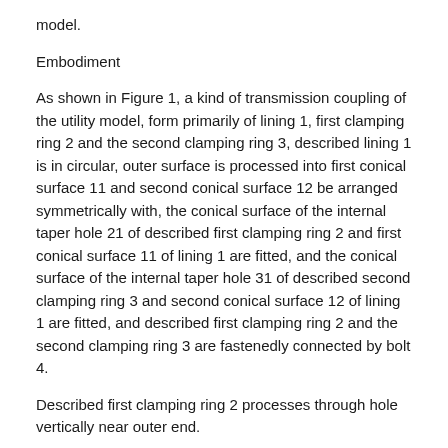model.
Embodiment
As shown in Figure 1, a kind of transmission coupling of the utility model, form primarily of lining 1, first clamping ring 2 and the second clamping ring 3, described lining 1 is in circular, outer surface is processed into first conical surface 11 and second conical surface 12 be arranged symmetrically with, the conical surface of the internal taper hole 21 of described first clamping ring 2 and first conical surface 11 of lining 1 are fitted, and the conical surface of the internal taper hole 31 of described second clamping ring 3 and second conical surface 12 of lining 1 are fitted, and described first clamping ring 2 and the second clamping ring 3 are fastenedly connected by bolt 4.
Described first clamping ring 2 processes through hole vertically near outer end.
The end face thread mill drilling that described second clamping ring 3 is relative with the first clamping ring 2.
During use, first on first conical surface 11 the first clamping ring 2 and the second clamping ring 3 be...